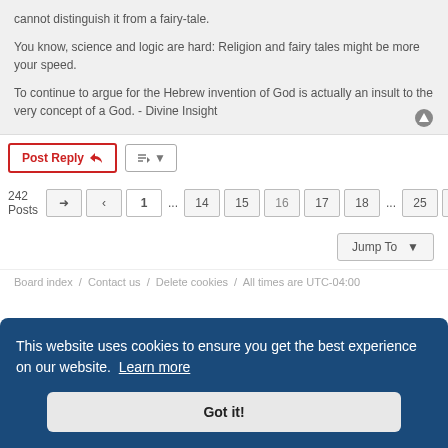cannot distinguish it from a fairy-tale.
You know, science and logic are hard: Religion and fairy tales might be more your speed.
To continue to argue for the Hebrew invention of God is actually an insult to the very concept of a God. - Divine Insight
Post Reply | Sort | 242 Posts | 1 ... 14 15 16 17 18 ... 25 | Jump To
Board index / Contact us / Delete cookies / All times are UTC-04:00
This website uses cookies to ensure you get the best experience on our website. Learn more
Got it!